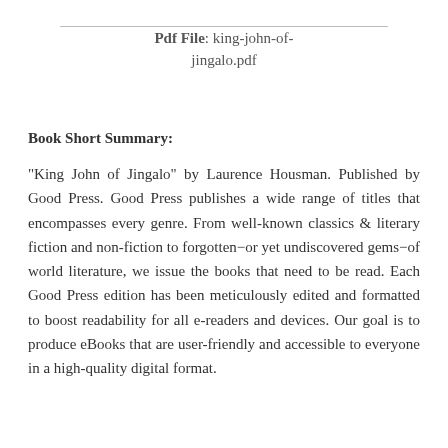Pdf File: king-john-of-jingalo.pdf
Book Short Summary:
"King John of Jingalo" by Laurence Housman. Published by Good Press. Good Press publishes a wide range of titles that encompasses every genre. From well-known classics & literary fiction and non-fiction to forgotten−or yet undiscovered gems−of world literature, we issue the books that need to be read. Each Good Press edition has been meticulously edited and formatted to boost readability for all e-readers and devices. Our goal is to produce eBooks that are user-friendly and accessible to everyone in a high-quality digital format.